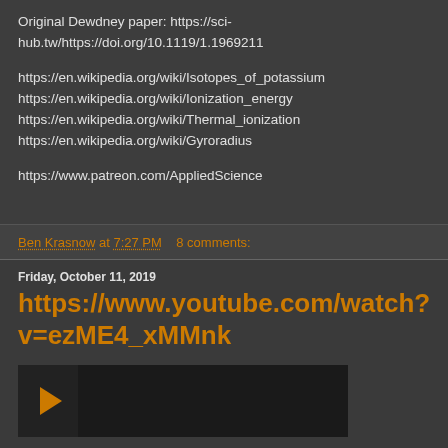Original Dewdney paper: https://sci-hub.tw/https://doi.org/10.1119/1.1969211

https://en.wikipedia.org/wiki/Isotopes_of_potassium
https://en.wikipedia.org/wiki/Ionization_energy
https://en.wikipedia.org/wiki/Thermal_ionization
https://en.wikipedia.org/wiki/Gyroradius

https://www.patreon.com/AppliedScience
Ben Krasnow at 7:27 PM   8 comments:
Friday, October 11, 2019
https://www.youtube.com/watch?v=ezME4_xMMnk
[Figure (screenshot): Video thumbnail showing partial view with a logo/icon at bottom left]